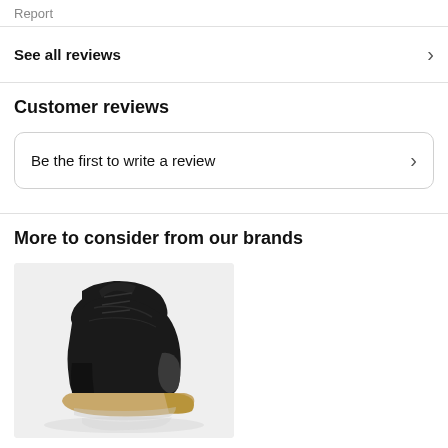Report
See all reviews
Customer reviews
Be the first to write a review
More to consider from our brands
[Figure (photo): Black suede chukka boot with tan crepe sole on a light grey background]